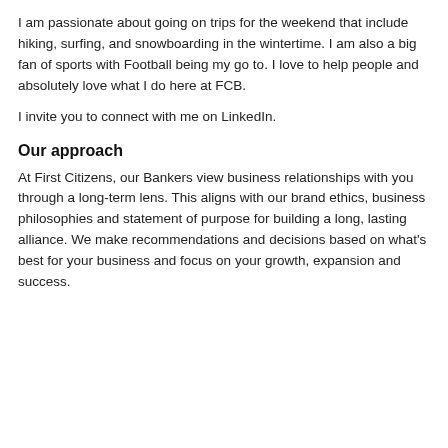growth phase of the business cycle.
I am passionate about going on trips for the weekend that include hiking, surfing, and snowboarding in the wintertime. I am also a big fan of sports with Football being my go to. I love to help people and absolutely love what I do here at FCB.
I invite you to connect with me on LinkedIn.
Our approach
At First Citizens, our Bankers view business relationships with you through a long-term lens. This aligns with our brand ethics, business philosophies and statement of purpose for building a long, lasting alliance. We make recommendations and decisions based on what's best for your business and focus on your growth, expansion and success.